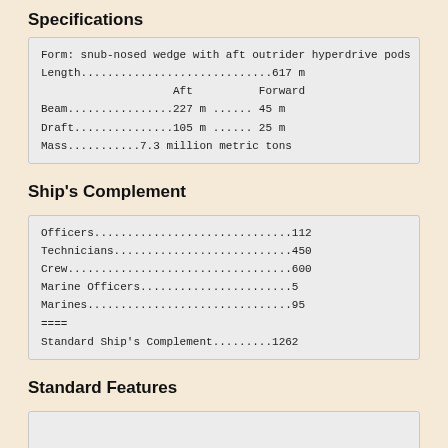Specifications
| Form: snub-nosed wedge with aft outrider hyperdrive pods |
| Length.............................617 m |
|                      Aft          Forward |
| Beam................227 m ...... 45 m |
| Draft...............105 m ...... 25 m |
| Mass...........7.3 million metric tons |
Ship's Complement
| Officers..............................112 |
| Technicians...........................450 |
| Crew..................................600 |
| Marine Officers.......................5 |
| Marines...............................95 |
| ==== |
| Standard Ship's Complement.........1262 |
Standard Features